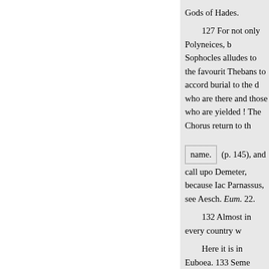Gods of Hades.
127 For not only Polyneices, b Sophocles alludes to the favourit Thebans to accord burial to the d who are there and those who are yielded ! The Chorus return to th
name. (p. 145), and call upo Demeter, because Iac Parnassus, see Aesch. Eum. 22.
132 Almost in every country w
Here it is in Euboea. 133 Seme (Eur. Ion. 1078). 136 Hecate. . 1 represented in Greece by the roc worked horizontally into the roc men have to traverse before they wisdom. 139 As it were a curren trade metaphor. 140 Megareus o descended from the Dragon stoc and Statius' Thebais, x. 589). 14
« Anterior